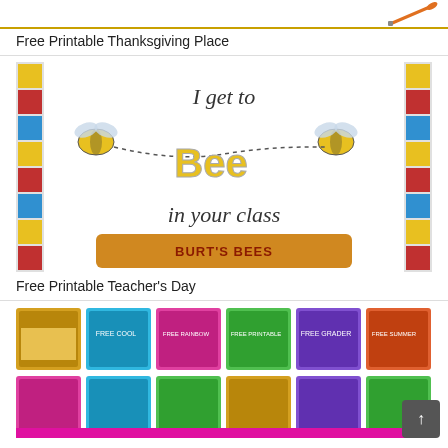Free Printable Thanksgiving Place
[Figure (photo): A printable card with cartoon bees reading 'I get to BEE in your class' with a Burt's Bees lip balm placed in front, colorful mosaic border on sides]
Free Printable Teacher's Day
[Figure (photo): Grid of colorful printable cards or labels with various designs and text, partially visible]